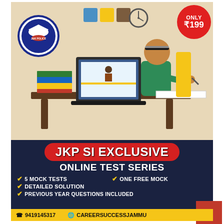[Figure (illustration): Promotional advertisement illustration: student sitting at desk with laptop showing an online lecture, books stacked, clock and colored squares in background. JK Police logo top-left. Red price badge top-right showing ONLY ₹199.]
JKP SI EXCLUSIVE
ONLINE TEST SERIES
✔ 5 MOCK TESTS
✔ ONE FREE MOCK
✔ DETAILED SOLUTION
✔ PREVIOUS YEAR QUESTIONS INCLUDED
☎ 9419145317    🌐 CAREERSUCCESSJAMMU
₹199  398  50% off